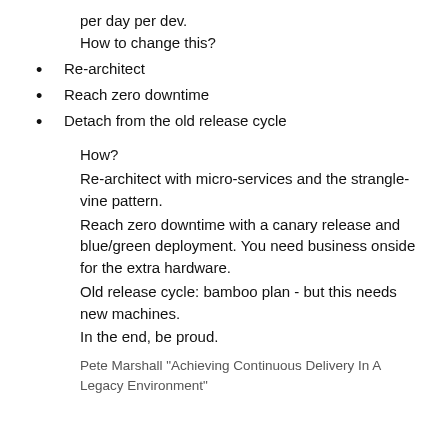per day per dev.
How to change this?
Re-architect
Reach zero downtime
Detach from the old release cycle
How?
Re-architect with micro-services and the strangle-vine pattern.
Reach zero downtime with a canary release and blue/green deployment. You need business onside for the extra hardware.
Old release cycle: bamboo plan - but this needs new machines.
In the end, be proud.
Pete Marshall "Achieving Continuous Delivery In A Legacy Environment"